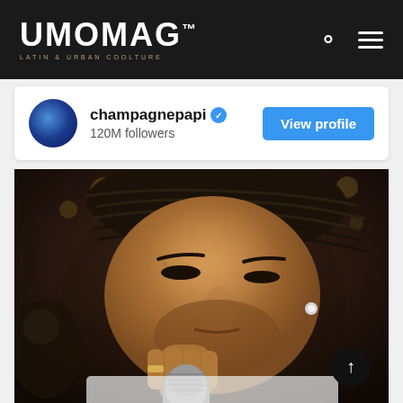UMOMAG™ LATIN & URBAN COOLTURE
[Figure (screenshot): Instagram profile embed showing champagnepapi account with 120M followers, blue verified badge, and View profile button]
[Figure (photo): Close-up photo of a tattooed man with braided hair holding a microphone up to his lips, performing on stage, bokeh background with warm lights]